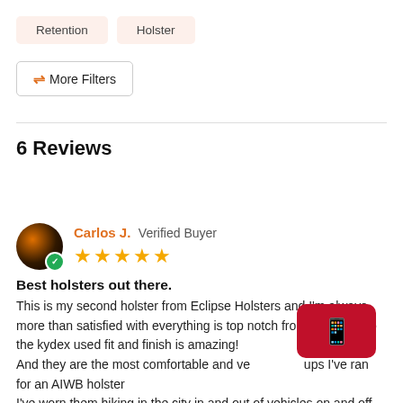Retention
Holster
≡ More Filters
6 Reviews
Carlos J.  Verified Buyer
★★★★★
Best holsters out there.
This is my second holster from Eclipse Holsters and I'm always more than satisfied with everything is top notch from hardware to the kydex used fit and finish is amazing!
And they are the most comfortable and ve... ups I've ran for an AIWB holster
I've worn them hiking,in the city in and out of vehicles on and off public trains no ...Read More